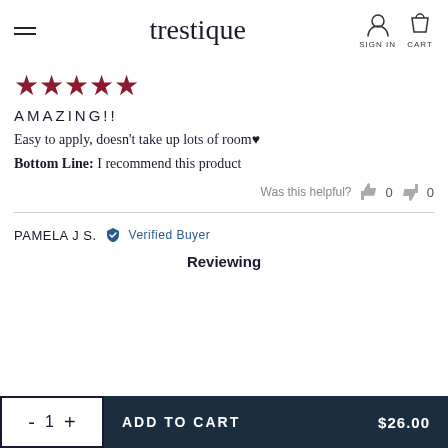trestique — SIGN IN  CART
[Figure (other): Five dark red star rating icons]
AMAZING!!
Easy to apply, doesn't take up lots of room♥
Bottom Line: I recommend this product
Was this helpful?  👍 0  👎 0
PAMELA J S.  ✓ Verified Buyer
Reviewing
- 1 +   ADD TO CART   $26.00